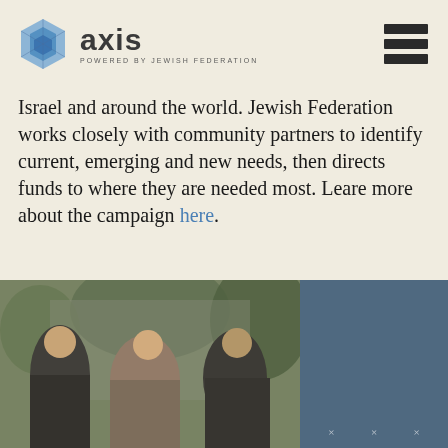axis — POWERED BY JEWISH FEDERATION
Israel and around the world. Jewish Federation works closely with community partners to identify current, emerging and new needs, then directs funds to where they are needed most. Leare more about the campaign here.
[Figure (photo): Decorative dot/asterisk pattern on beige background]
[Figure (photo): Three young professionals socializing outdoors, two men and a woman with drinks]
[Figure (other): Dark blue-grey panel, partially visible, with small cross/asterisk decorations at bottom]